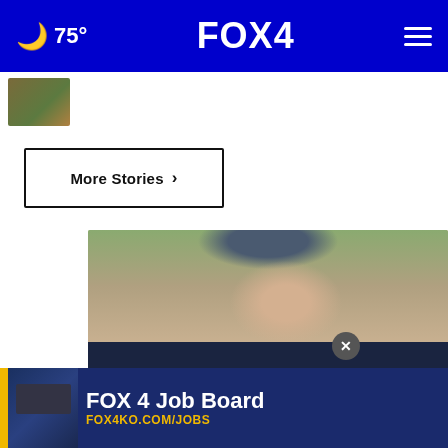FOX 4  75°
[Figure (screenshot): Partial story thumbnail with orange/green photo]
More Stories ›
[Figure (photo): Advertisement: BestReviews - woman adjusting earbuds with hat, text: For the best reviews, go to BESTREVIEWS]
[Figure (photo): FOX 4 Job Board banner advertisement: FOX4KC.COM/JOBS]